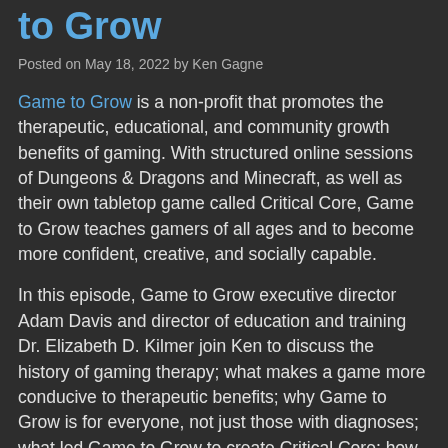to Grow
Posted on May 18, 2022 by Ken Gagne
Game to Grow is a non-profit that promotes the therapeutic, educational, and community growth benefits of gaming. With structured online sessions of Dungeons & Dragons and Minecraft, as well as their own tabletop game called Critical Core, Game to Grow teaches gamers of all ages and to become more confident, creative, and socially capable.
In this episode, Game to Grow executive director Adam Davis and director of education and training Dr. Elizabeth D. Kilmer join Ken to discuss the history of gaming therapy; what makes a game more conducive to therapeutic benefits; why Game to Grow is for everyone, not just those with diagnoses; what led Game to Grow to create Critical Core; how games such as Dark Souls and Celeste